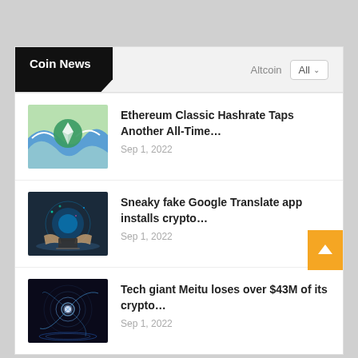Coin News
Altcoin  All
[Figure (photo): Ethereum Classic logo over wave illustration]
Ethereum Classic Hashrate Taps Another All-Time…
Sep 1, 2022
[Figure (photo): Person using laptop with digital crypto overlay]
Sneaky fake Google Translate app installs crypto…
Sep 1, 2022
[Figure (photo): Abstract spiral galaxy digital art]
Tech giant Meitu loses over $43M of its crypto…
Sep 1, 2022